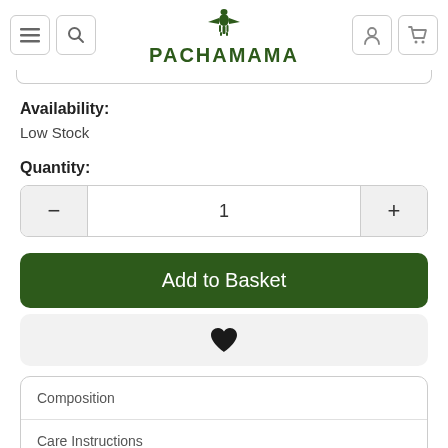PACHAMAMA
Availability:
Low Stock
Quantity:
1
Add to Basket
[Figure (illustration): Heart / wishlist icon]
Composition
Care Instructions